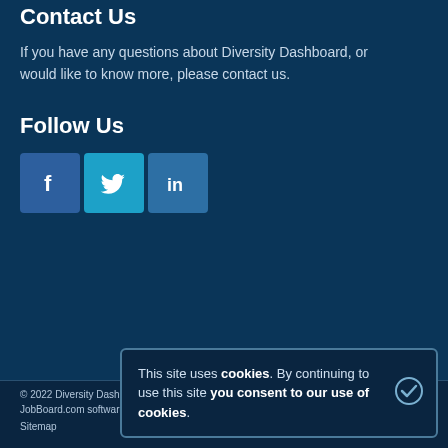Contact Us
If you have any questions about Diversity Dashboard, or would like to know more, please contact us.
Follow Us
[Figure (illustration): Social media icons for Facebook, Twitter, and LinkedIn]
© 2022 Diversity Dashboard
JobBoard.com software by HotLizard
Sitemap
This site uses cookies. By continuing to use this site you consent to our use of cookies.